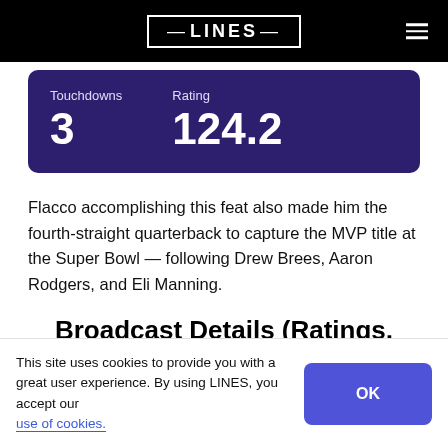LINES
| Touchdowns | Rating |
| --- | --- |
| 3 | 124.2 |
Flacco accomplishing this feat also made him the fourth-straight quarterback to capture the MVP title at the Super Bowl — following Drew Brees, Aaron Rodgers, and Eli Manning.
Broadcast Details (Ratings,
This site uses cookies to provide you with a great user experience. By using LINES, you accept our use of cookies.